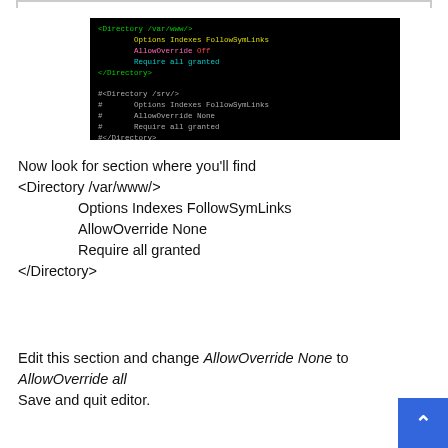[Figure (screenshot): Terminal/code editor screenshot on black background showing Apache Directory configuration with syntax highlighting. Shows <Directory /var/www/> block with Options Indexes FollowSymLinks, AllowOverride Off, Require all granted, </Directory>, and a commented-out #<Directory /srv/> block with similar options commented with #.]
Now look for section where you'll find <Directory /var/www/>
    Options Indexes FollowSymLinks
    AllowOverride None
    Require all granted
</Directory>
Edit this section and change AllowOverride None to AllowOverride all
Save and quit editor.